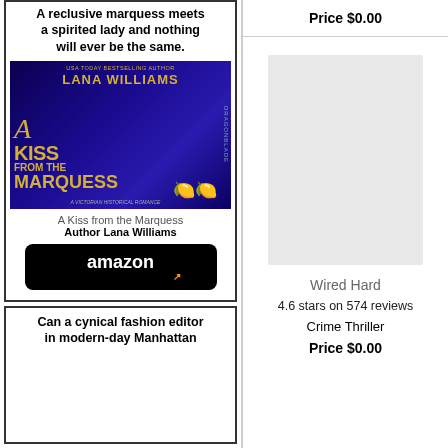A reclusive marquess meets a spirited lady and nothing will ever be the same.
[Figure (illustration): Book cover for 'A Kiss from the Marquess' by Lana Williams, USA Today Bestselling Author. Blue/dark background with a woman in a blue gown, ornate script title in gold, Dragonblade publishing logo on spine, lemons as decoration.]
A Kiss from the Marquess
Author Lana Williams
[Figure (logo): Amazon logo button — black rounded rectangle with 'amazon' in white text and orange arrow/smile underneath]
Can a cynical fashion editor in modern-day Manhattan
Price $0.00
[Figure (illustration): Light gray rectangular placeholder for a book cover image (Wired Hard)]
Wired Hard
4.6 stars on 574 reviews
Crime Thriller
Price $0.00